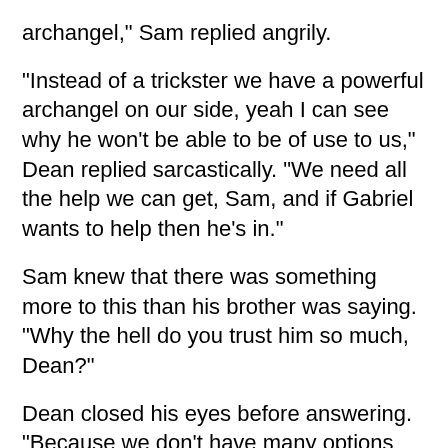archangel," Sam replied angrily.
"Instead of a trickster we have a powerful archangel on our side, yeah I can see why he won't be able to be of use to us," Dean replied sarcastically. "We need all the help we can get, Sam, and if Gabriel wants to help then he's in."
Sam knew that there was something more to this than his brother was saying. "Why the hell do you trust him so much, Dean?"
Dean closed his eyes before answering. "Because we don't have many options left, Sammy."
"No, this is just like me and Ruby, Dean," Sam shook his head in denial. He wasn't about to let his brother make the same mistakes he did.
"How is this the same, Sam?" Dean replied angrily. "Ruby was a demon, Gabriel's an angel. An archangel at that."
"And since when have we been best buddies with angels?"